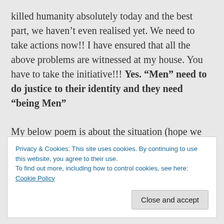killed humanity absolutely today and the best part, we haven't even realised yet. We need to take actions now!! I have ensured that all the above problems are witnessed at my house. You have to take the initiative!!! Yes. "Men" need to do justice to their identity and they need "being Men"
My below poem is about the situation (hope we never reach there) when one of critical human
Privacy & Cookies: This site uses cookies. By continuing to use this website, you agree to their use.
To find out more, including how to control cookies, see here: Cookie Policy